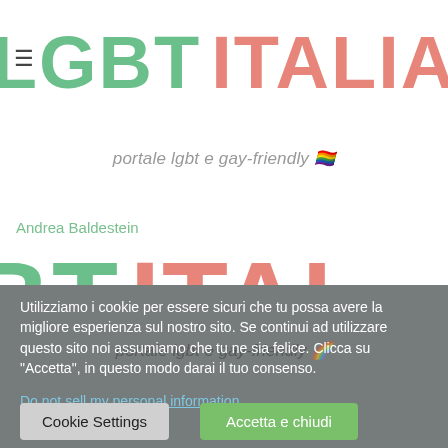LGBT ITALIA
portale lgbt e gay-friendly 🏳️‍🌈
Andrea Baldestein
[Figure (logo): Large background rendering of 'BT ITAL' in green and salmon/coral rounded bold font, partially cropped]
portale lgbt e gay-friendly 🌈
Utilizziamo i cookie per essere sicuri che tu possa avere la migliore esperienza sul nostro sito. Se continui ad utilizzare questo sito noi assumiamo che tu ne sia felice. Clicca su "Accetta", in questo modo darai il tuo consenso.
Do not sell my personal information.
Cookie Settings
Accetta e chiudi